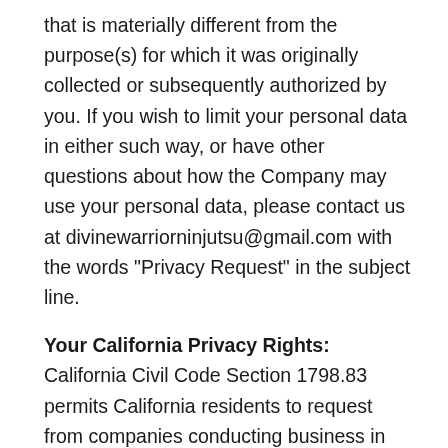that is materially different from the purpose(s) for which it was originally collected or subsequently authorized by you. If you wish to limit your personal data in either such way, or have other questions about how the Company may use your personal data, please contact us at divinewarriorninjutsu@gmail.com with the words “Privacy Request” in the subject line.
Your California Privacy Rights: California Civil Code Section 1798.83 permits California residents to request from companies conducting business in California a list of third parties to which the company has disclosed personally identifiable information during the preceding year for direct marketing purposes. Company has not and will